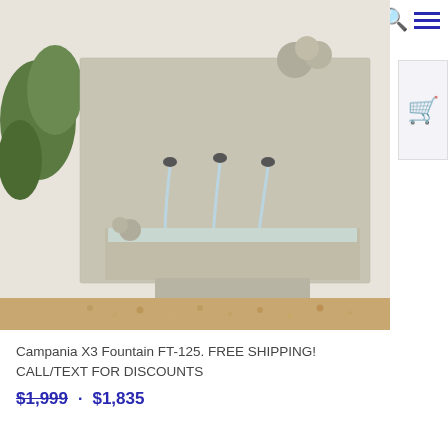[Figure (photo): A Campania X3 wall fountain (FT-125) made of light beige/grey cast stone. The fountain features a large flat rectangular wall panel with three spout pipes that pour water arcs into a long rectangular trough basin below. Decorative stone balls sit atop the wall panel and inside the basin. Green foliage is visible to the left. The fountain sits on gravel ground.]
Campania X3 Fountain FT-125. FREE SHIPPING! CALL/TEXT FOR DISCOUNTS
$1,999 · $1,835